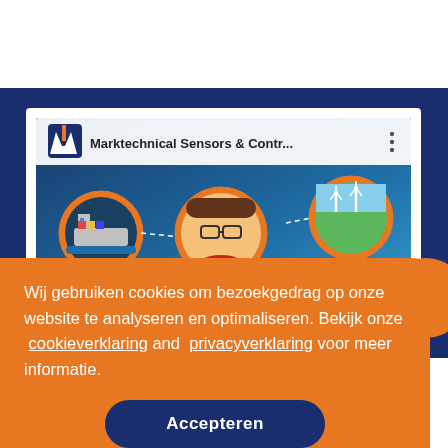[Figure (screenshot): YouTube video thumbnail showing Marktechnical Sensors & Contr... with animated character, cargo ship circle, wind turbine circle, and play button on blue background]
Wij gebruiken cookies om bezoekgedrag op onze website te analyseren en optimaliseren. Bekijk onze cookieverklaring and privacyverklaring voor meer informatie.
Accepteren
UW VOORDELEN